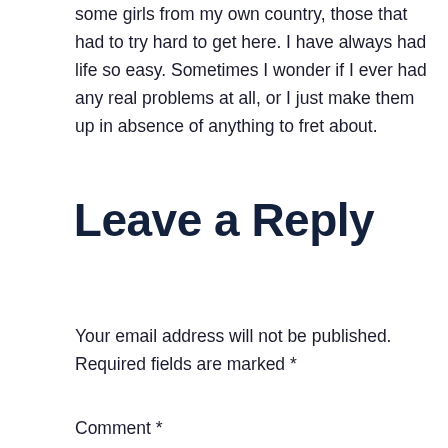some girls from my own country, those that had to try hard to get here. I have always had life so easy. Sometimes I wonder if I ever had any real problems at all, or I just make them up in absence of anything to fret about.
Leave a Reply
Your email address will not be published. Required fields are marked *
Comment *